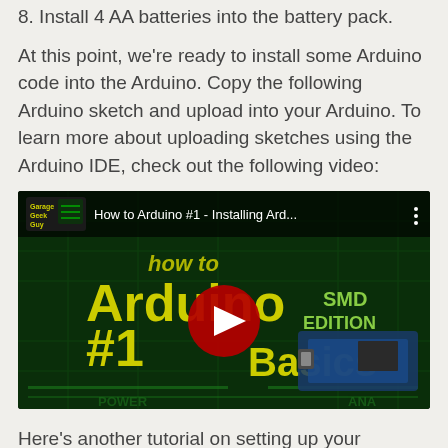8. Install 4 AA batteries into the battery pack.
At this point, we're ready to install some Arduino code into the Arduino. Copy the following Arduino sketch and upload into your Arduino. To learn more about uploading sketches using the Arduino IDE, check out the following video:
[Figure (screenshot): YouTube video thumbnail showing 'How to Arduino #1 - Installing Ard...' by Garage Geek Guy, with yellow text 'how to Arduino #1 Arduino Basics SMD Edition' on dark green circuit board background, with red YouTube play button in center]
Here's another tutorial on setting up your Arduino